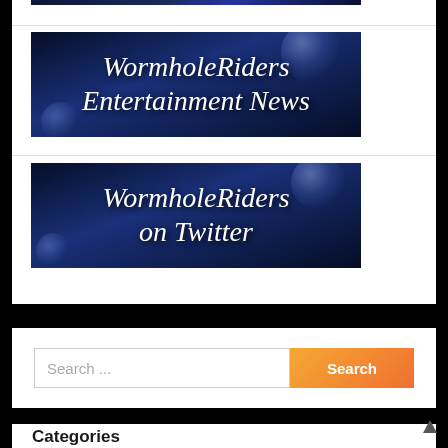[Figure (screenshot): Partial top image clipped at the top of the page showing a dark blue globe/space background]
[Figure (screenshot): WormholeRiders Entertainment News banner with italic white text on dark blue space/globe background]
[Figure (screenshot): WormholeRiders on Twitter banner with italic white text on dark blue space/globe background]
Search ...
Categories